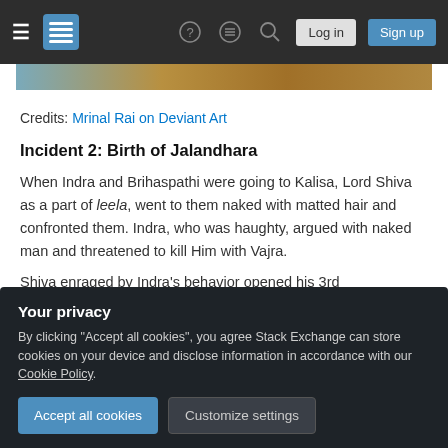Stack Exchange navigation bar with Log in and Sign up buttons
[Figure (photo): Partial image strip visible at top of content area]
Credits: Mrinal Rai on Deviant Art
Incident 2: Birth of Jalandhara
When Indra and Brihaspathi were going to Kalisa, Lord Shiva as a part of leela, went to them naked with matted hair and confronted them. Indra, who was haughty, argued with naked man and threatened to kill Him with Vajra.
Shiva enraged by Indra's behavior opened his 3rd
Your privacy
By clicking "Accept all cookies", you agree Stack Exchange can store cookies on your device and disclose information in accordance with our Cookie Policy.